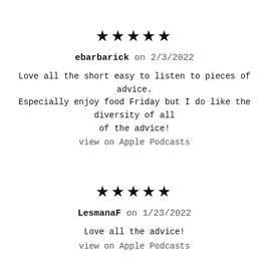[Figure (other): Five black stars rating]
ebarbarick on 2/3/2022
Love all the short easy to listen to pieces of advice. Especially enjoy food Friday but I do like the diversity of all of the advice!
view on Apple Podcasts
[Figure (other): Five black stars rating]
LesmanaF on 1/23/2022
Love all the advice!
view on Apple Podcasts